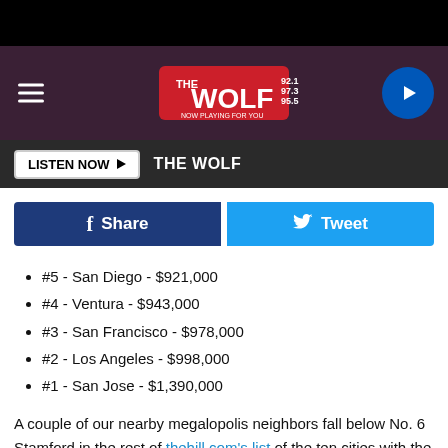[Figure (screenshot): The Wolf radio station header banner with logo, hamburger menu, and play button]
[Figure (screenshot): Listen Now button bar with THE WOLF text]
[Figure (screenshot): Facebook Share and Twitter Tweet social buttons]
#5 - San Diego - $921,000
#4 - Ventura - $943,000
#3 - San Francisco - $978,000
#2 - Los Angeles - $998,000
#1 - San Jose - $1,390,000
A couple of our nearby megalopolis neighbors fall below No. 6 Stamford in the rest of thehill.com's list of the ten cities with the highest median home list prices: